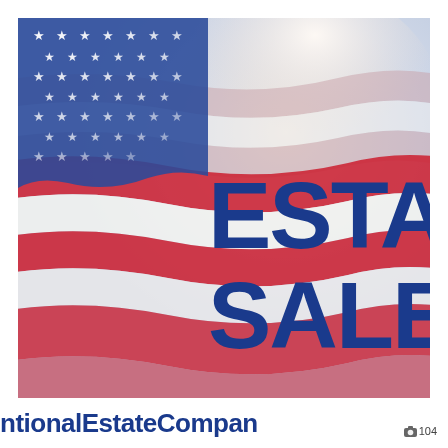[Figure (illustration): American flag background with red, white, and blue stripes and stars, faded/washed out toward the right, overlaid with bold dark blue text reading 'ESTAT' and 'SALE' (partially cropped on the right edge). Below the image, text reads 'ntionalEstateCompan' (partially cropped). A camera icon badge showing '104' appears in the bottom-right corner.]